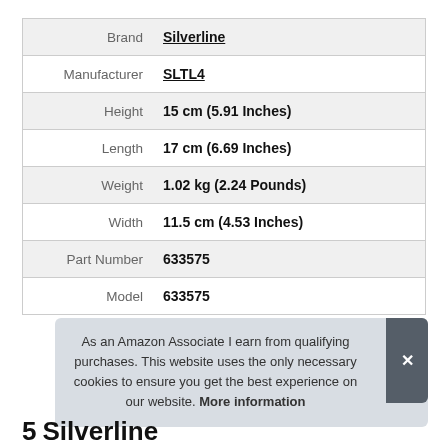| Attribute | Value |
| --- | --- |
| Brand | Silverline |
| Manufacturer | SLTL4 |
| Height | 15 cm (5.91 Inches) |
| Length | 17 cm (6.69 Inches) |
| Weight | 1.02 kg (2.24 Pounds) |
| Width | 11.5 cm (4.53 Inches) |
| Part Number | 633575 |
| Model | 633575 |
As an Amazon Associate I earn from qualifying purchases. This website uses the only necessary cookies to ensure you get the best experience on our website. More information
5 Silverline